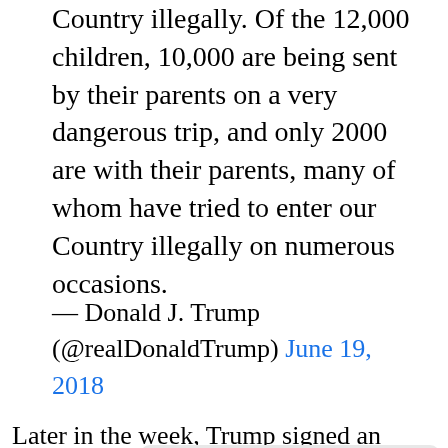Country illegally. Of the 12,000 children, 10,000 are being sent by their parents on a very dangerous trip, and only 2000 are with their parents, many of whom have tried to enter our Country illegally on numerous occasions.
— Donald J. Trump (@realDonaldTrump) June 19, 2018
Later in the week, Trump signed an executive order that
GET THE WORLD'S BEST NATURAL HEALTH NEWSLETTER DELIVERED STRAIGHT TO YOUR INBOX
BY CONTINUING TO BROWSE OUR SITE YOU AGREE TO OUR USE OF COOKIES AND OUR PRIVACY POLICY.
Agree and close